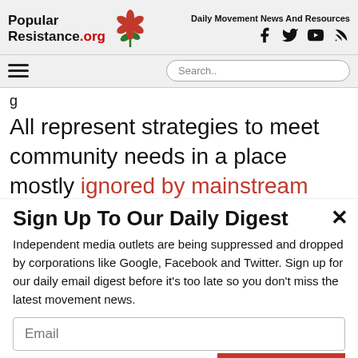Popular Resistance.org — Daily Movement News And Resources
All represent strategies to meet community needs in a place mostly ignored by mainstream retailers.
Sign Up To Our Daily Digest
Independent media outlets are being suppressed and dropped by corporations like Google, Facebook and Twitter. Sign up for our daily email digest before it's too late so you don't miss the latest movement news.